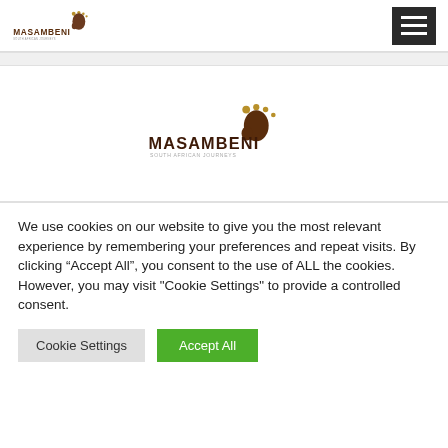[Figure (logo): Masambeni logo with footprint icon and text 'MASAMBENI' and subtitle 'SOUTH AFRICAN JOURNEYS' in top navigation bar]
[Figure (logo): Masambeni logo centered in middle section — larger footprint icon in brown, 'MASAMBENI' text in dark brown, subtitle 'SOUTH AFRICAN JOURNEYS']
We use cookies on our website to give you the most relevant experience by remembering your preferences and repeat visits. By clicking “Accept All”, you consent to the use of ALL the cookies. However, you may visit "Cookie Settings" to provide a controlled consent.
Cookie Settings
Accept All